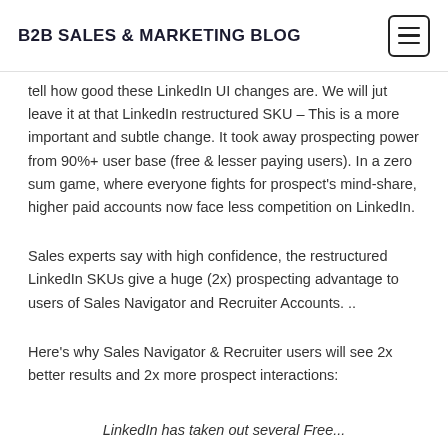B2B SALES & MARKETING BLOG
tell how good these LinkedIn UI changes are. We will jut leave it at that LinkedIn restructured SKU – This is a more important and subtle change. It took away prospecting power from 90%+ user base (free & lesser paying users). In a zero sum game, where everyone fights for prospect's mind-share, higher paid accounts now face less competition on LinkedIn.
Sales experts say with high confidence, the restructured LinkedIn SKUs give a huge (2x) prospecting advantage to users of Sales Navigator and Recruiter Accounts. ..
Here's why Sales Navigator & Recruiter users will see 2x better results and 2x more prospect interactions:
LinkedIn has taken out several Free...